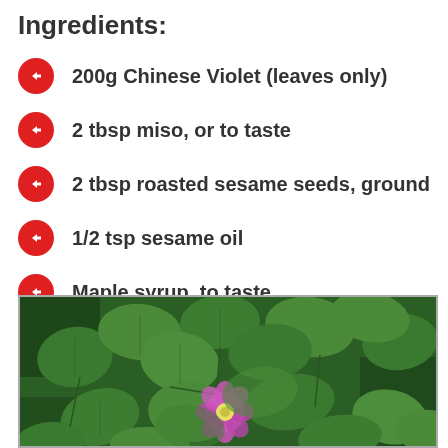Ingredients:
200g Chinese Violet (leaves only)
2 tbsp miso, or to taste
2 tbsp roasted sesame seeds, ground
1/2 tsp sesame oil
Maple syrup, to taste
[Figure (photo): Photo of Chinese Violet plant with green heart-shaped leaves and a single pink/purple flower with yellow center, growing densely outdoors.]